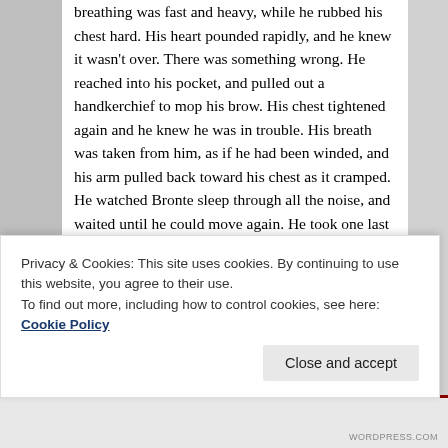breathing was fast and heavy, while he rubbed his chest hard. His heart pounded rapidly, and he knew it wasn’t over. There was something wrong. He reached into his pocket, and pulled out a handkerchief to mop his brow. His chest tightened again and he knew he was in trouble. His breath was taken from him, as if he had been winded, and his arm pulled back toward his chest as it cramped. He watched Bronte sleep through all the noise, and waited until he could move again. He took one last look at her before he slipped outside the room and staggered toward the stairs.
“WERDER!” He screamed, reaching the top of the stairs. “WERDER! HELP ME!” He started to slowly descend the stairs when his legs gave out. He tumbled down the
Privacy & Cookies: This site uses cookies. By continuing to use this website, you agree to their use.
To find out more, including how to control cookies, see here: Cookie Policy